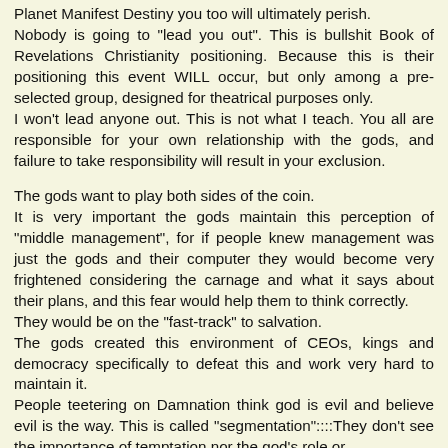Planet Manifest Destiny you too will ultimately perish. Nobody is going to "lead you out". This is bullshit Book of Revelations Christianity positioning. Because this is their positioning this event WILL occur, but only among a pre-selected group, designed for theatrical purposes only. I won't lead anyone out. This is not what I teach. You all are responsible for your own relationship with the gods, and failure to take responsibility will result in your exclusion.
The gods want to play both sides of the coin. It is very important the gods maintain this perception of "middle management", for if people knew management was just the gods and their computer they would become very frightened considering the carnage and what it says about their plans, and this fear would help them to think correctly. They would be on the "fast-track" to salvation. The gods created this environment of CEOs, kings and democracy specifically to defeat this and work very hard to maintain it. People teetering on Damnation think god is evil and believe evil is the way. This is called "segmentation"::::They don't see the importance of temptation nor the god's role or